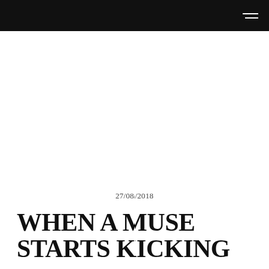27/08/2018
WHEN A MUSE STARTS KICKING